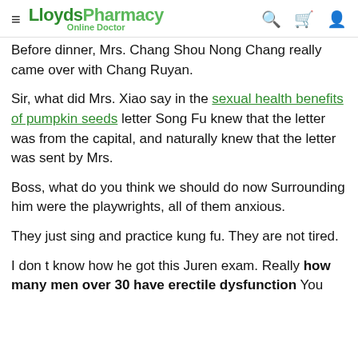LloydsPharmacy Online Doctor
Before dinner, Mrs. Chang Shou Nong Chang really came over with Chang Ruyan.
Sir, what did Mrs. Xiao say in the sexual health benefits of pumpkin seeds letter Song Fu knew that the letter was from the capital, and naturally knew that the letter was sent by Mrs.
Boss, what do you think we should do now Surrounding him were the playwrights, all of them anxious.
They just sing and practice kung fu. They are not tired.
I don t know how he got this Juren exam. Really how many men over 30 have erectile dysfunction You